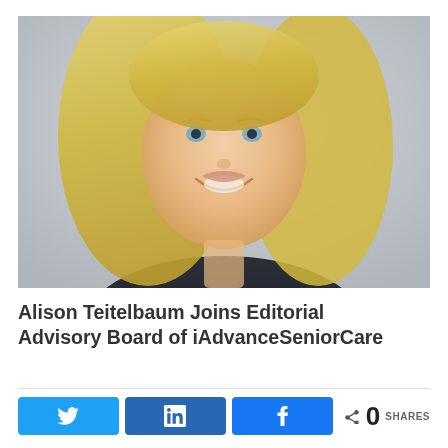[Figure (photo): Headshot of a smiling blonde woman with blue eyes, wearing a dark top, against a light grey background.]
Alison Teitelbaum Joins Editorial Advisory Board of iAdvanceSeniorCare